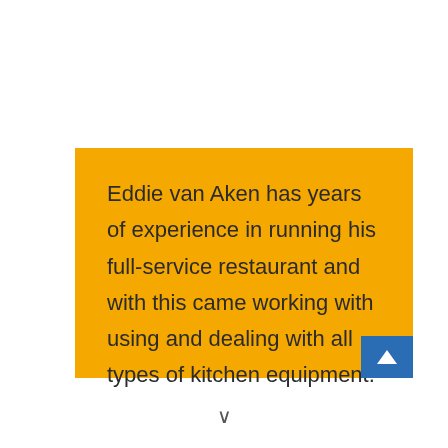Eddie van Aken has years of experience in running his full-service restaurant and with this came working with using and dealing with all types of kitchen equipment.